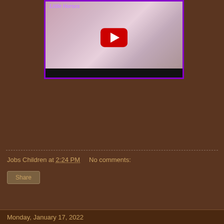[Figure (screenshot): YouTube video thumbnail showing 'Little Horses' with a woman holding a crochet project, pink floral background, red YouTube play button, purple border, black bar at bottom]
Jobs Children at 2:24 PM   No comments:
Share
Monday, January 17, 2022